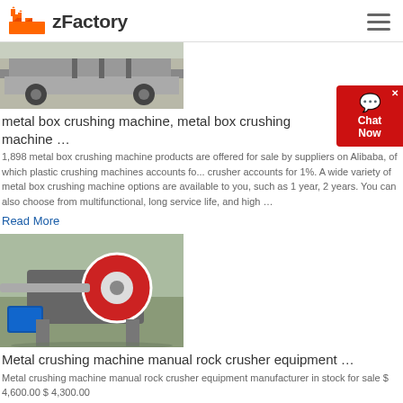zFactory
[Figure (photo): Photo of metal box crushing machine on a truck or platform, industrial equipment visible from below]
metal box crushing machine, metal box crushing machine …
1,898 metal box crushing machine products are offered for sale by suppliers on Alibaba, of which plastic crushing machines accounts fo... crusher accounts for 1%. A wide variety of metal box crushing machine options are available to you, such as 1 year, 2 years. You can also choose from multifunctional, long service life, and high …
Read More
[Figure (photo): Photo of metal crushing machine / manual rock crusher equipment outdoors on a worksite]
Metal crushing machine manual rock crusher equipment …
Metal crushing machine manual rock crusher equipment manufacturer in stock for sale $ 4,600.00 $ 4,300.00